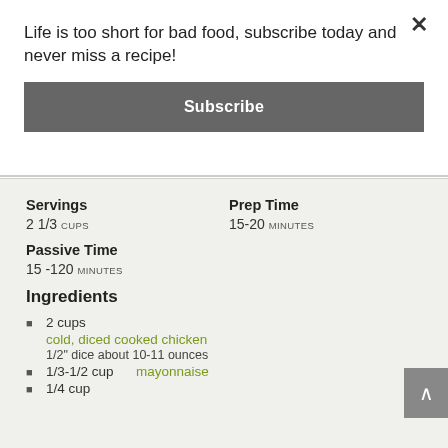Life is too short for bad food, subscribe today and never miss a recipe!
Subscribe
Servings
2 1/3 CUPS
Prep Time
15-20 MINUTES
Passive Time
15 -120 MINUTES
Ingredients
2 cups cold, diced cooked chicken 1/2" dice about 10-11 ounces
1/3-1/2 cup mayonnaise
1/4 cup